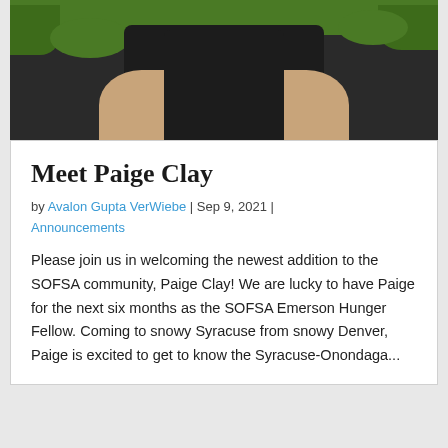[Figure (photo): Cropped photo of Paige Clay showing torso area with dark top, green foliage visible in background]
Meet Paige Clay
by Avalon Gupta VerWiebe | Sep 9, 2021 | Announcements
Please join us in welcoming the newest addition to the SOFSA community, Paige Clay! We are lucky to have Paige for the next six months as the SOFSA Emerson Hunger Fellow. Coming to snowy Syracuse from snowy Denver, Paige is excited to get to know the Syracuse-Onondaga...